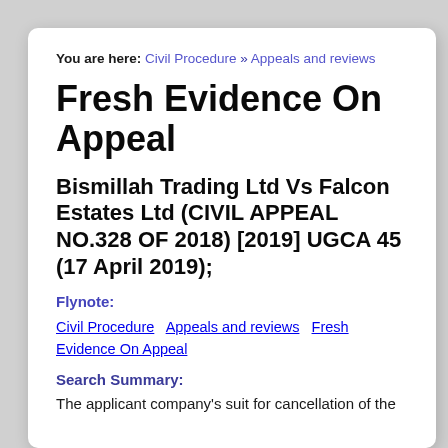You are here: Civil Procedure » Appeals and reviews
Fresh Evidence On Appeal
Bismillah Trading Ltd Vs Falcon Estates Ltd (CIVIL APPEAL NO.328 OF 2018) [2019] UGCA 45 (17 April 2019);
Flynote:
Civil Procedure   Appeals and reviews   Fresh Evidence On Appeal
Search Summary:
The applicant company's suit for cancellation of the